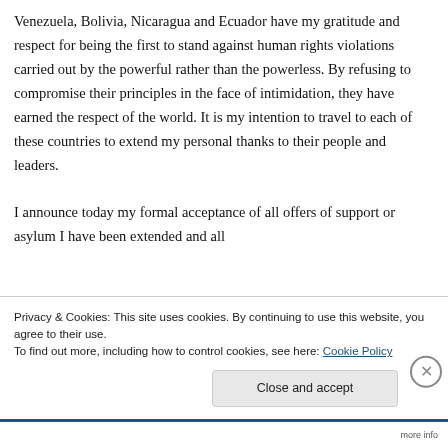Venezuela, Bolivia, Nicaragua and Ecuador have my gratitude and respect for being the first to stand against human rights violations carried out by the powerful rather than the powerless. By refusing to compromise their principles in the face of intimidation, they have earned the respect of the world. It is my intention to travel to each of these countries to extend my personal thanks to their people and leaders.

I announce today my formal acceptance of all offers of support or asylum I have been extended and all
Privacy & Cookies: This site uses cookies. By continuing to use this website, you agree to their use.
To find out more, including how to control cookies, see here: Cookie Policy
Close and accept